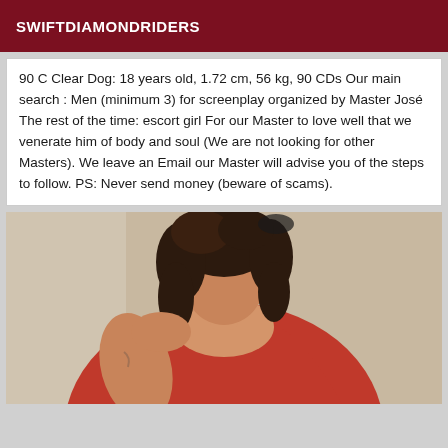SWIFTDIAMONDRIDERS
90 C Clear Dog: 18 years old, 1.72 cm, 56 kg, 90 CDs Our main search : Men (minimum 3) for screenplay organized by Master José The rest of the time: escort girl For our Master to love well that we venerate him of body and soul (We are not looking for other Masters). We leave an Email our Master will advise you of the steps to follow. PS: Never send money (beware of scams).
[Figure (photo): Photo of a woman with curly dark hair wearing a red lace top, shown from shoulders up/mid torso, photographed indoors against a light wall.]